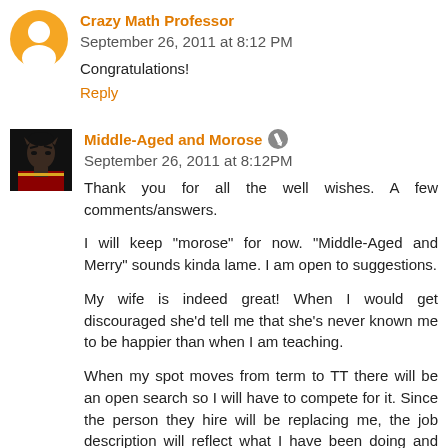[Figure (illustration): Blogger avatar icon - orange circle with white person silhouette]
Crazy Math Professor  September 26, 2011 at 8:12 PM
Congratulations!
Reply
[Figure (photo): User avatar - dark image with Spock-like character from Star Trek]
Middle-Aged and Morose  September 26, 2011 at 8:12 PM
Thank you for all the well wishes. A few comments/answers.

I will keep "morose" for now. "Middle-Aged and Merry" sounds kinda lame. I am open to suggestions.

My wife is indeed great! When I would get discouraged she'd tell me that she's never known me to be happier than when I am teaching.

When my spot moves from term to TT there will be an open search so I will have to compete for it. Since the person they hire will be replacing me, the job description will reflect what I have been doing and who better to replace me, than